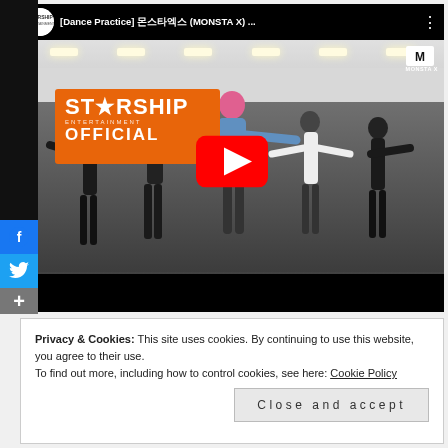[Figure (screenshot): YouTube embedded video showing MONSTA X Dance Practice video with Starship Entertainment channel icon, video title '[Dance Practice] 몬스타엑스 (MONSTA X) ...', play button overlay, Starship Entertainment OFFICIAL orange overlay, and group of dancers in a practice room. Social share sidebar on the left with Facebook, Twitter, and plus buttons.]
Privacy & Cookies: This site uses cookies. By continuing to use this website, you agree to their use.
To find out more, including how to control cookies, see here: Cookie Policy
Close and accept